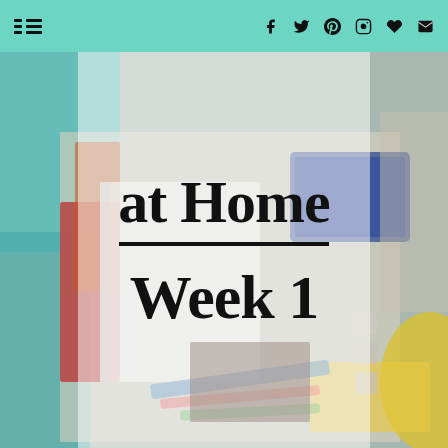Navigation bar with menu icon and social icons: Facebook, Twitter, Pinterest, Instagram, Bloglovin, Email
[Figure (photo): Flat-lay photo of school/home learning supplies including board games (UNO, Pictionary), notebooks, crayons, pencils, and a smiley face toy on a table, with a semi-transparent white overlay box showing the blog post title]
at Home
Week 1